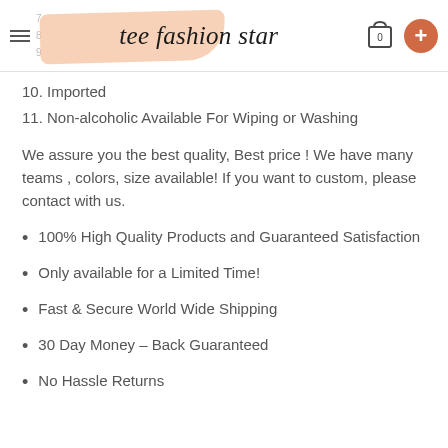tee fashion star
10. Imported
11. Non-alcoholic Available For Wiping or Washing
We assure you the best quality, Best price ! We have many teams , colors, size available! If you want to custom, please contact with us.
100% High Quality Products and Guaranteed Satisfaction
Only available for a Limited Time!
Fast & Secure World Wide Shipping
30 Day Money – Back Guaranteed
No Hassle Returns